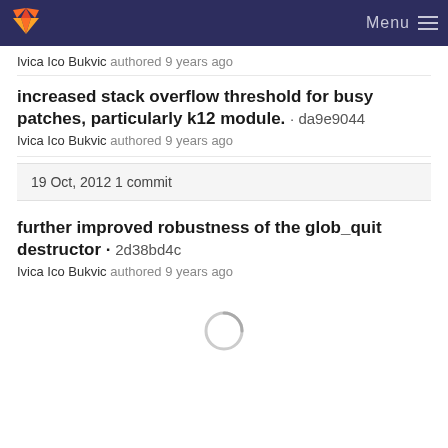GitLab — Menu
Ivica Ico Bukvic authored 9 years ago
increased stack overflow threshold for busy patches, particularly k12 module. · da9e9044
Ivica Ico Bukvic authored 9 years ago
19 Oct, 2012 1 commit
further improved robustness of the glob_quit destructor · 2d38bd4c
Ivica Ico Bukvic authored 9 years ago
[Figure (other): Loading spinner circle indicator]